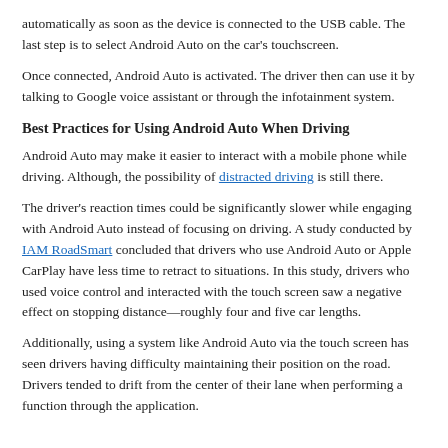automatically as soon as the device is connected to the USB cable. The last step is to select Android Auto on the car's touchscreen.
Once connected, Android Auto is activated. The driver then can use it by talking to Google voice assistant or through the infotainment system.
Best Practices for Using Android Auto When Driving
Android Auto may make it easier to interact with a mobile phone while driving. Although, the possibility of distracted driving is still there.
The driver's reaction times could be significantly slower while engaging with Android Auto instead of focusing on driving. A study conducted by IAM RoadSmart concluded that drivers who use Android Auto or Apple CarPlay have less time to retract to situations. In this study, drivers who used voice control and interacted with the touch screen saw a negative effect on stopping distance—roughly four and five car lengths.
Additionally, using a system like Android Auto via the touch screen has seen drivers having difficulty maintaining their position on the road. Drivers tended to drift from the center of their lane when performing a function through the application.